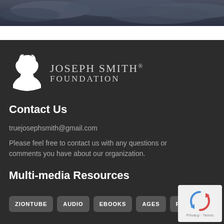[Figure (photo): Dark stormy sky photograph at top of page]
[Figure (logo): Joseph Smith Foundation logo with white silhouette profile and serif text]
Contact Us
truejosephsmith@gmail.com
Please feel free to contact us with any questions or comments you have about our organization.
Multi-media Resources
ZIONTUBE
AUDIO
EBOOKS
AGES
PODCAST
[Figure (other): reCAPTCHA widget showing spinning arrows icon with Privacy and Terms links]